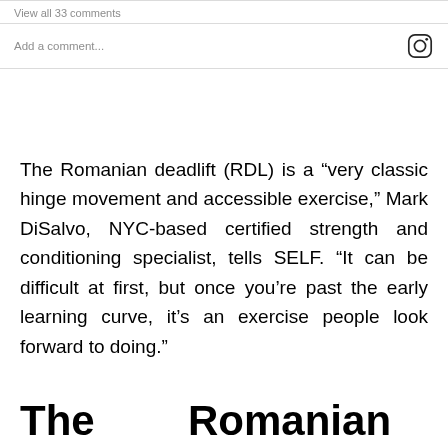View all 33 comments
Add a comment...
The Romanian deadlift (RDL) is a “very classic hinge movement and accessible exercise,” Mark DiSalvo, NYC-based certified strength and conditioning specialist, tells SELF. “It can be difficult at first, but once you’re past the early learning curve, it’s an exercise people look forward to doing.”
The Romanian deadli…